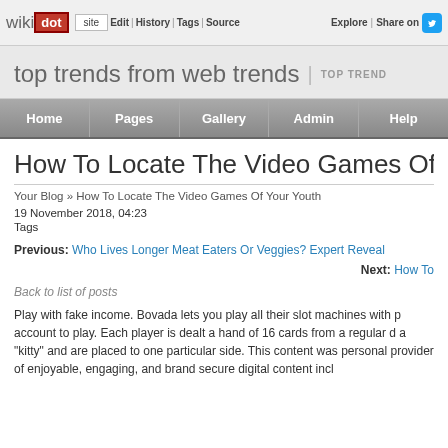wikidot | Edit | History | Tags | Source | Explore | Share on Twitter
top trends from web trends | TOP TREND
Home | Pages | Gallery | Admin | Help
How To Locate The Video Games Of Your Youth
Your Blog » How To Locate The Video Games Of Your Youth
19 November 2018, 04:23
Tags
Previous: Who Lives Longer Meat Eaters Or Veggies? Expert Reveal...
Next: How To...
Back to list of posts
Play with fake income. Bovada lets you play all their slot machines with p... account to play. Each player is dealt a hand of 16 cards from a regular d... a "kitty" and are placed to one particular side. This content was personal... provider of enjoyable, engaging, and brand secure digital content incl...